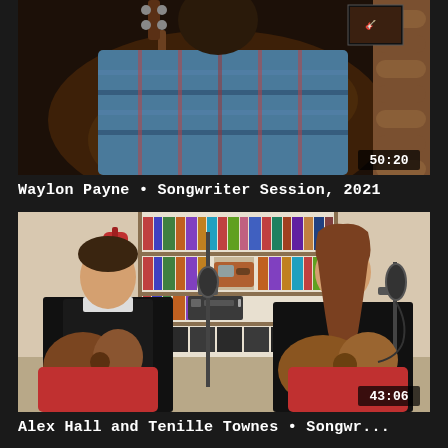[Figure (screenshot): Video thumbnail showing a person playing guitar wearing a plaid shirt, with a duration badge of 50:20 in bottom right corner]
Waylon Payne • Songwriter Session, 2021
[Figure (screenshot): Video thumbnail showing two people (Alex Hall and Tenille Townes) sitting and playing acoustic guitars in a room with bookshelves, with a duration badge of 43:06 in bottom right corner]
Alex Hall and Tenille Townes • Songwr...